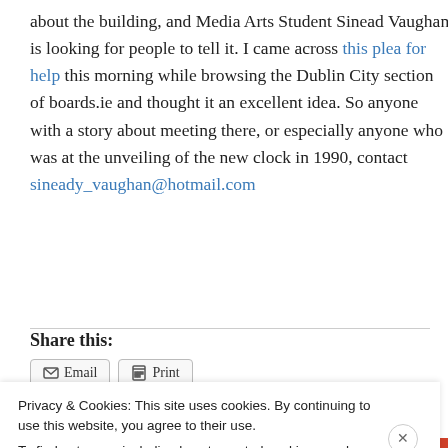about the building, and Media Arts Student Sinead Vaughan is looking for people to tell it. I came across this plea for help this morning while browsing the Dublin City section of boards.ie and thought it an excellent idea. So anyone with a story about meeting there, or especially anyone who was at the unveiling of the new clock in 1990, contact sineady_vaughan@hotmail.com
Share this:
Privacy & Cookies: This site uses cookies. By continuing to use this website, you agree to their use. To find out more, including how to control cookies, see here: Cookie Policy